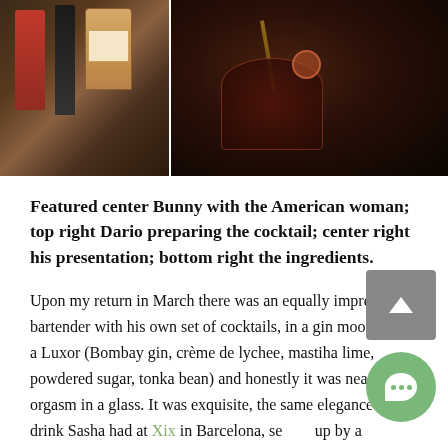[Figure (photo): Two photos side by side: left shows bar bottles including a dark bottle and a decorative jar; right shows a dark cocktail in a wide glass with a wooden stirrer and garnish on a dark surface.]
Featured center Bunny with the American woman; top right Dario preparing the cocktail; center right his presentation; bottom right the ingredients.
Upon my return in March there was an equally impressive bartender with his own set of cocktails, in a gin mood I had a Luxor (Bombay gin, crème de lychee, mastiha lime, powdered sugar, tonka bean) and honestly it was nearly an orgasm in a glass. It was exquisite, the same elegance as a drink Sasha had at Xix in Barcelona, served up by a handsome Italian male with a flair